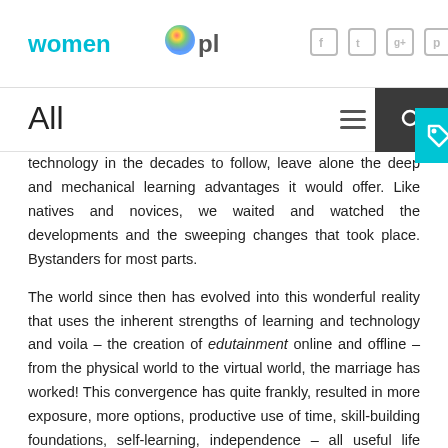women pla.net [social icons: Facebook, Twitter, Google+, Pinterest]
All
technology in the decades to follow, leave alone the deep and mechanical learning advantages it would offer. Like natives and novices, we waited and watched the developments and the sweeping changes that took place. Bystanders for most parts.
The world since then has evolved into this wonderful reality that uses the inherent strengths of learning and technology and voila – the creation of edutainment online and offline – from the physical world to the virtual world, the marriage has worked! This convergence has quite frankly, resulted in more exposure, more options, productive use of time, skill-building foundations, self-learning, independence – all useful life skills that aid progress and become important foundational milestones. Adults, be it, parents or educators, awakening to the advantages have been consciously influencing the creators of these edutainment platforms as they share success stories of how effective these are for the development milestone.